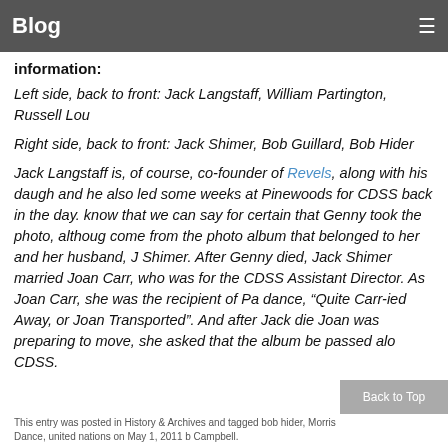Blog
information:
Left side, back to front: Jack Langstaff, William Partington, Russell Lou
Right side, back to front: Jack Shimer, Bob Guillard, Bob Hider
Jack Langstaff is, of course, co-founder of Revels, along with his daugh and he also led some weeks at Pinewoods for CDSS back in the day. know that we can say for certain that Genny took the photo, althoug come from the photo album that belonged to her and her husband, J Shimer. After Genny died, Jack Shimer married Joan Carr, who was for the CDSS Assistant Director. As Joan Carr, she was the recipient of Pa dance, "Quite Carr-ied Away, or Joan Transported". And after Jack die Joan was preparing to move, she asked that the album be passed alo CDSS.
This entry was posted in History & Archives and tagged bob hider, Morris Dance, united nations on May 1, 2011 b Campbell.